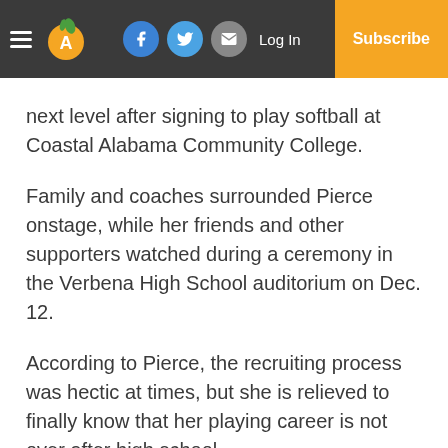Log In | Subscribe
next level after signing to play softball at Coastal Alabama Community College.
Family and coaches surrounded Pierce onstage, while her friends and other supporters watched during a ceremony in the Verbena High School auditorium on Dec. 12.
According to Pierce, the recruiting process was hectic at times, but she is relieved to finally know that her playing career is not over after high school.